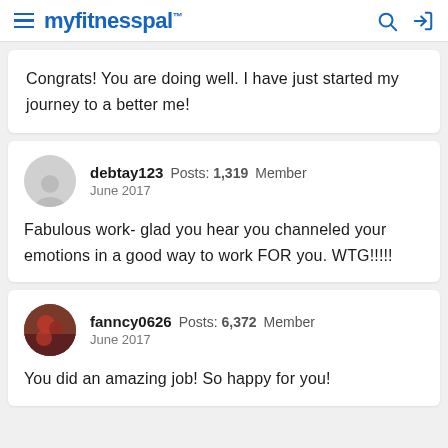myfitnesspal
Congrats! You are doing well. I have just started my journey to a better me!
debtay123  Posts: 1,319  Member
June 2017

Fabulous work- glad you hear you channeled your emotions in a good way to work FOR you. WTG!!!!!
fanncy0626  Posts: 6,372  Member
June 2017

You did an amazing job! So happy for you!